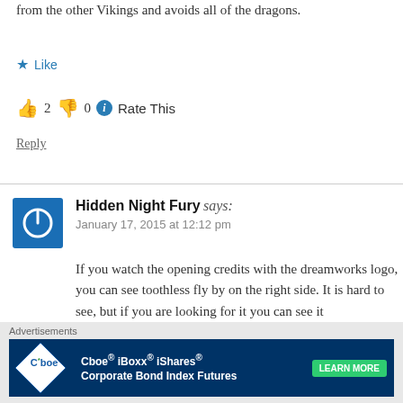from the other Vikings and avoids all of the dragons.
★ Like
👍 2  👎 0  ℹ Rate This
Reply
Hidden Night Fury says:
January 17, 2015 at 12:12 pm
If you watch the opening credits with the dreamworks logo, you can see toothless fly by on the right side. It is hard to see, but if you are looking for it you can see it
★ Like
Advertisements
Cboe® iBoxx® iShares® Corporate Bond Index Futures  LEARN MORE